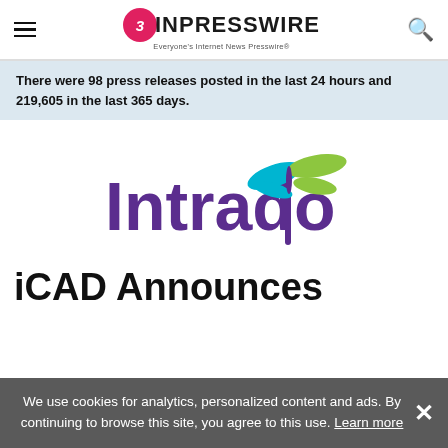EIN Presswire — Everyone's Internet News Presswire
There were 98 press releases posted in the last 24 hours and 219,605 in the last 365 days.
[Figure (logo): Intrado logo — purple text 'Intrado' with a dragonfly graphic in teal and green above the letter 'i']
iCAD Announces
We use cookies for analytics, personalized content and ads. By continuing to browse this site, you agree to this use. Learn more